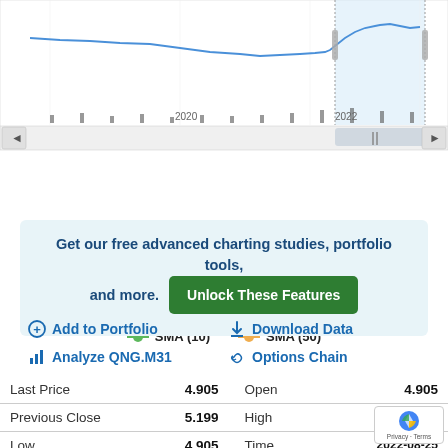[Figure (continuous-plot): Line chart showing NYMEX_QNG.M31 price history with a highlighted region around 2022, showing price line and volume bars. X-axis shows years 2020 and 2022. Navigation arrows and scroll bar visible below chart.]
NYMEX_QNG.M31  Volume  SMA (10)  SMA (50)
Get our free advanced charting studies, portfolio tools, and more. Unlock These Features
+ Add to Portfolio
↓ Download Data
↑| Analyze QNG.M31
🔗 Options Chain
|  |  |  |  |
| --- | --- | --- | --- |
| Last Price | 4.905 | Open | 4.905 |
| Previous Close | 5.199 | High | 4.905 |
| Low | 4.905 | Time | 2022-08-25 0 |
| Volatility | 26.8 | Expiration | 203 |